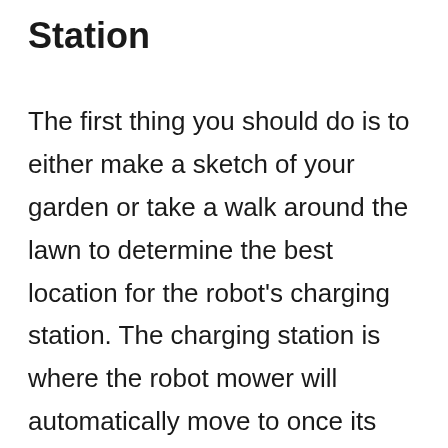Station
The first thing you should do is to either make a sketch of your garden or take a walk around the lawn to determine the best location for the robot's charging station. The charging station is where the robot mower will automatically move to once its battery is low.